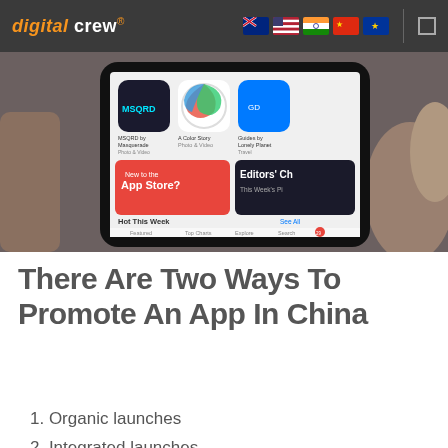digital crew. [flags: AU, US, IN, CN, EU]
[Figure (photo): A hand holding a smartphone displaying the Apple App Store, showing app icons including MSQRD, A Color Story, Guides by Lonely Planet, and banners for 'New to the App Store?' and 'Editors' Choice'.]
There Are Two Ways To Promote An App In China
1. Organic launches
2. Integrated launches